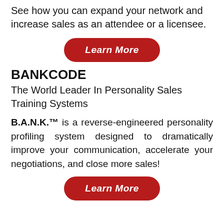See how you can expand your network and increase sales as an attendee or a licensee.
[Figure (other): Red rounded rectangle button with italic bold white text 'Learn More']
BANKCODE
The World Leader In Personality Sales Training Systems
B.A.N.K.™ is a reverse-engineered personality profiling system designed to dramatically improve your communication, accelerate your negotiations, and close more sales!
[Figure (other): Red rounded rectangle button with italic bold white text 'Learn More']